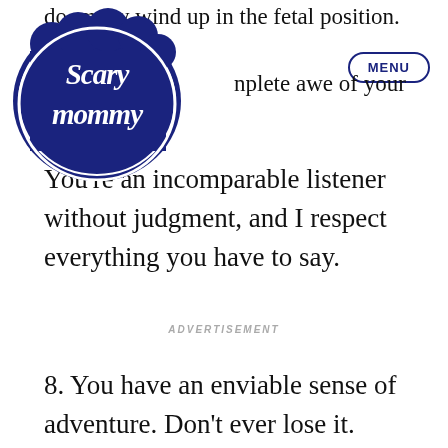[Figure (logo): Scary Mommy logo — dark navy blue badge with stylized cursive text 'Scary Mommy']
do, many wind up in the fetal position. But not
nplete awe of your streng
[Figure (other): MENU button — oval/pill shaped border with MENU text in navy blue]
You're an incomparable listener without judgment, and I respect everything you have to say.
ADVERTISEMENT
8. You have an enviable sense of adventure. Don't ever lose it.